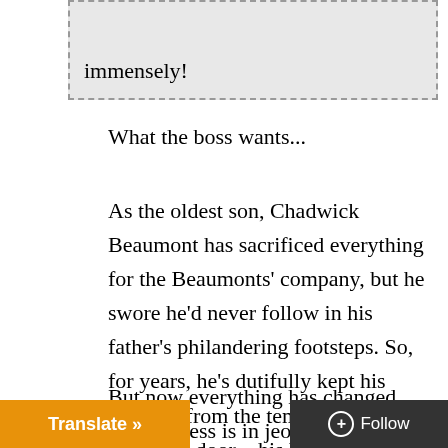immensely!
What the boss wants...
As the oldest son, Chadwick Beaumont has sacrificed everything for the Beaumonts' company, but he swore he'd never follow in his father's philandering footsteps. So, for years, he's dutifully kept his distance from the temptation outside his office door—his beautiful secretary Serena Chase.
But now everything has changed. The ness is in jeopardy. His pe